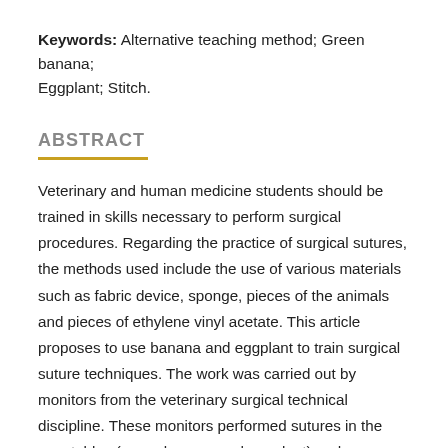Keywords: Alternative teaching method; Green banana; Eggplant; Stitch.
ABSTRACT
Veterinary and human medicine students should be trained in skills necessary to perform surgical procedures. Regarding the practice of surgical sutures, the methods used include the use of various materials such as fabric device, sponge, pieces of the animals and pieces of ethylene vinyl acetate. This article proposes to use banana and eggplant to train surgical suture techniques. The work was carried out by monitors from the veterinary surgical technical discipline. These monitors performed sutures in the vegetables (green banana and eggplant) and completed a questionnaire on the method. All monitors agreed that